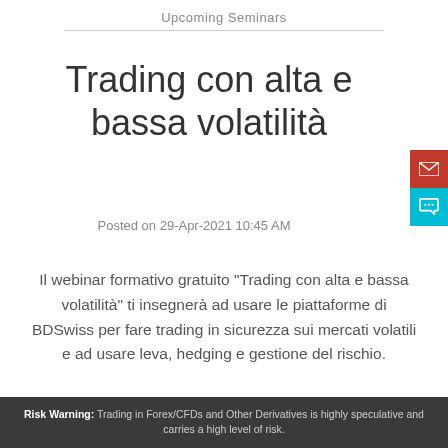Upcoming Seminars
Trading con alta e bassa volatilità
Posted on 29-Apr-2021 10:45 AM
Il webinar formativo gratuito "Trading con alta e bassa volatilità" ti insegnerà ad usare le piattaforme di BDSwiss per fare trading in sicurezza sui mercati volatili e ad usare leva, hedging e gestione del rischio.
Risk Warning: Trading in Forex/CFDs and Other Derivatives is highly speculative and carries a high level of risk.